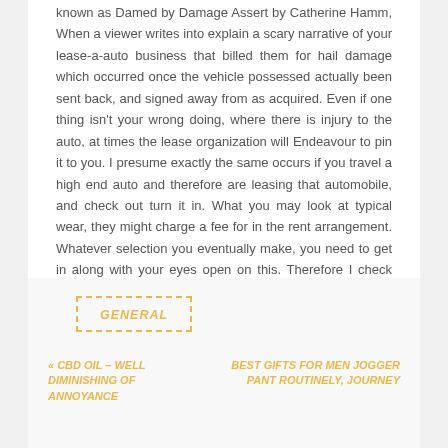known as Damed by Damage Assert by Catherine Hamm, When a viewer writes into explain a scary narrative of your lease-a-auto business that billed them for hail damage which occurred once the vehicle possessed actually been sent back, and signed away from as acquired. Even if one thing isn't your wrong doing, where there is injury to the auto, at times the lease organization will Endeavour to pin it to you. I presume exactly the same occurs if you travel a high end auto and therefore are leasing that automobile, and check out turn it in. What you may look at typical wear, they might charge a fee for in the rent arrangement. Whatever selection you eventually make, you need to get in along with your eyes open on this. Therefore I check with which you remember to consider this all.
GENERAL
« CBD OIL – WELL DIMINISHING OF ANNOYANCE
BEST GIFTS FOR MEN JOGGER PANT ROUTINELY, JOURNEY